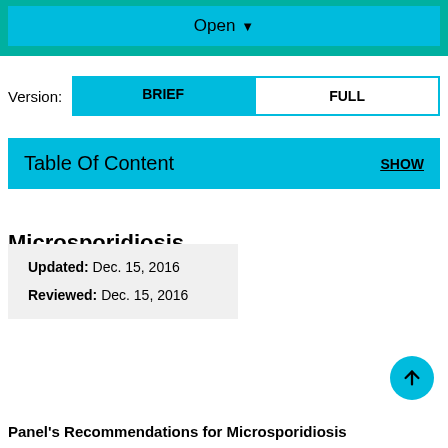[Figure (screenshot): Teal background header area with an Open dropdown button in cyan/blue]
Open ▼
Version: BRIEF | FULL
Table Of Content   SHOW
Microsporidiosis
Updated: Dec. 15, 2016
Reviewed: Dec. 15, 2016
Panel's Recommendations for Microsporidiosis